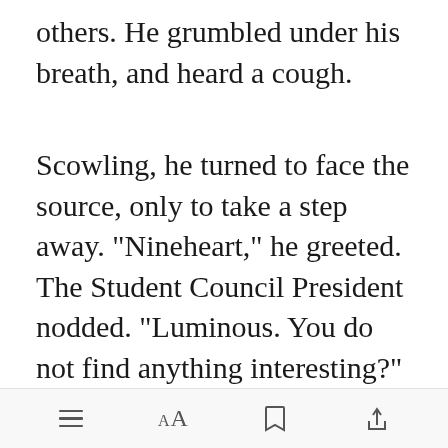others. He grumbled under his breath, and heard a cough.
Scowling, he turned to face the source, only to take a step away. "Nineheart," he greeted. The Student Council President nodded. "Luminous. You do not find anything interesting?" It sounded more like a statement than a
[Figure (other): Green 'Open in app' button overlay on text]
Toolbar with menu, font size, bookmark, and share icons